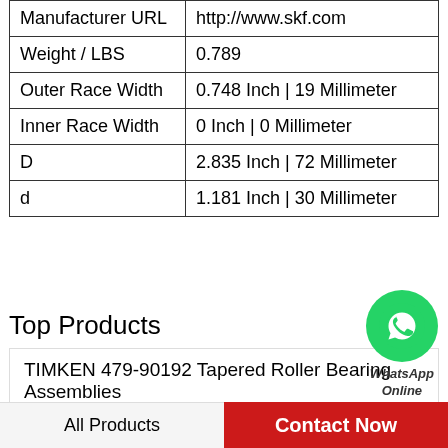| Property | Value |
| --- | --- |
| Manufacturer URL | http://www.skf.com |
| Weight / LBS | 0.789 |
| Outer Race Width | 0.748 Inch | 19 Millimeter |
| Inner Race Width | 0 Inch | 0 Millimeter |
| D | 2.835 Inch | 72 Millimeter |
| d | 1.181 Inch | 30 Millimeter |
[Figure (logo): WhatsApp green circle icon with phone handset, labeled WhatsApp Online]
Top Products
TIMKEN 479-90192 Tapered Roller Bearing Assemblies
4.724 Inch | 120 Millimeter x 8.465 Inch | 215
All Products   Contact Now